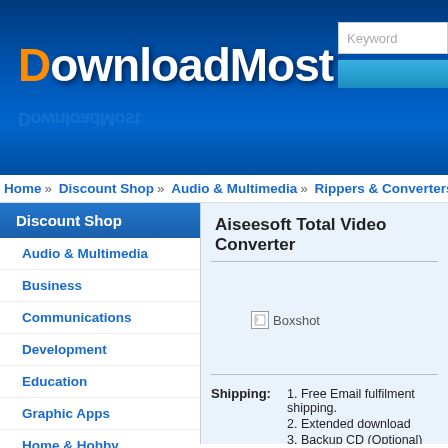[Figure (logo): DownloadMost website logo with orange D and white text on blue gradient background]
Keyword
Home » Discount Shop » Audio & Multimedia » Rippers & Converters
Discount Shop
Audio & Multimedia
Business
Communications
Development
Education
Graphic Apps
Home & Hobby
Network & Internet
Security & Privacy
Servers
System Utilities
Aiseesoft Total Video Converter
[Figure (photo): Boxshot placeholder image for Aiseesoft Total Video Converter]
| Field | Details |
| --- | --- |
| Shipping: | 1. Free Email fulfilment shipping.
2. Extended download
3. Backup CD (Optional) |
| Payment: | VISA, MasterCard, and other cards |